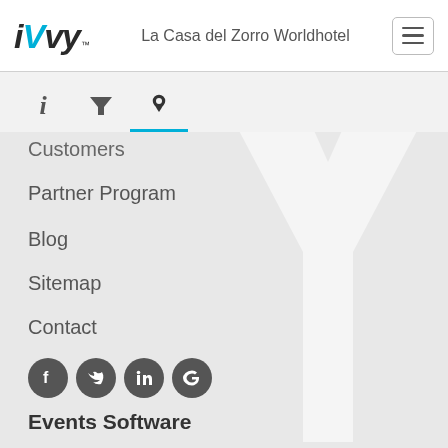iVvy — La Casa del Zorro Worldhotel
[Figure (screenshot): Navigation tab bar with info (i), filter (funnel), and location (pin) icons; location tab is active with blue underline]
Customers
Partner Program
Blog
Sitemap
Contact
[Figure (illustration): Social media icons: Facebook, Twitter, LinkedIn, Google]
Events Software
Home
Highlights
Event Registrations
Event Management